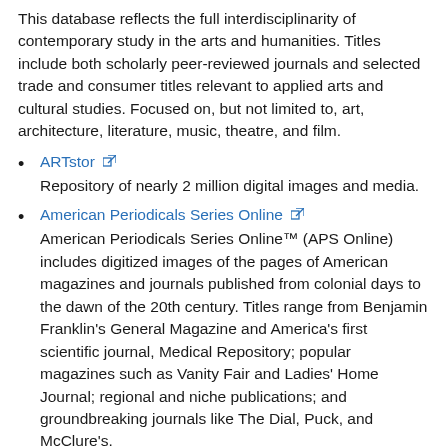This database reflects the full interdisciplinarity of contemporary study in the arts and humanities. Titles include both scholarly peer-reviewed journals and selected trade and consumer titles relevant to applied arts and cultural studies. Focused on, but not limited to, art, architecture, literature, music, theatre, and film.
ARTstor — Repository of nearly 2 million digital images and media.
American Periodicals Series Online — American Periodicals Series Online™ (APS Online) includes digitized images of the pages of American magazines and journals published from colonial days to the dawn of the 20th century. Titles range from Benjamin Franklin's General Magazine and America's first scientific journal, Medical Repository; popular magazines such as Vanity Fair and Ladies' Home Journal; regional and niche publications; and groundbreaking journals like The Dial, Puck, and McClure's.
Film & Television Literature Index with Full Text — Includes resources on film & television theory, preservation and restoration, screenwriting, production.